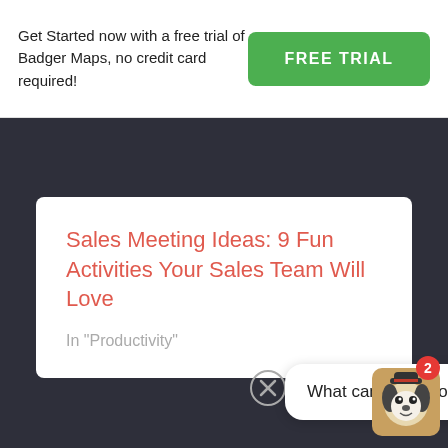Get Started now with a free trial of Badger Maps, no credit card required!
FREE TRIAL
Sales Meeting Ideas: 9 Fun Activities Your Sales Team Will Love
In "Productivity"
What can I help you with today?